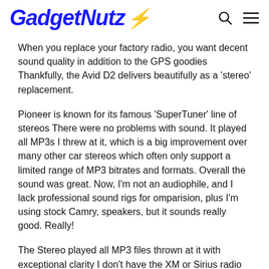GadgetNutz
When you replace your factory radio, you want decent sound quality in addition to the GPS goodies Thankfully, the Avid D2 delivers beautifully as a 'stereo' replacement.
Pioneer is known for its famous 'SuperTuner' line of stereos There were no problems with sound. It played all MP3s I threw at it, which is a big improvement over many other car stereos which often only support a limited range of MP3 bitrates and formats. Overall the sound was great. Now, I'm not an audiophile, and I lack professional sound rigs for omparision, plus I'm using stock Camry, speakers, but it sounds really good. Really!
The Stereo played all MP3 files thrown at it with exceptional clarity I don't have the XM or Sirius radio modules, or a separate DVD player, or even a rear-view camera. Yet, if I was going go full out in installing this permanently, I would install all of this as the AVIC D2 has all the menus built-in for controlling these